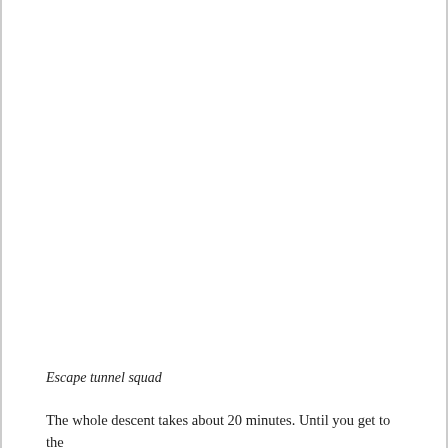Escape tunnel squad
The whole descent takes about 20 minutes. Until you get to the